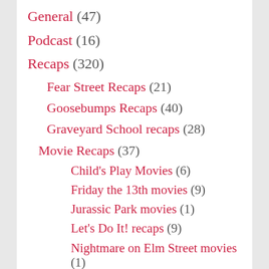General (47)
Podcast (16)
Recaps (320)
Fear Street Recaps (21)
Goosebumps Recaps (40)
Graveyard School recaps (28)
Movie Recaps (37)
Child's Play Movies (6)
Friday the 13th movies (9)
Jurassic Park movies (1)
Let's Do It! recaps (9)
Nightmare on Elm Street movies (1)
Other movies (8)